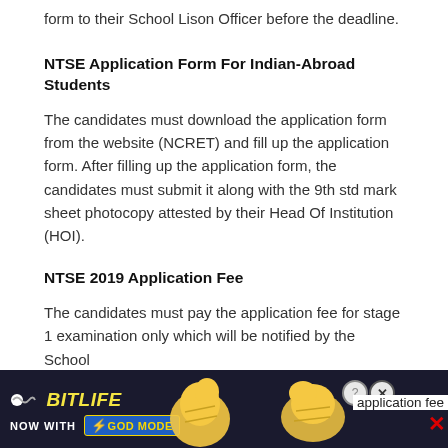form to their School Lison Officer before the deadline.
NTSE Application Form For Indian-Abroad Students
The candidates must download the application form from the website (NCRET) and fill up the application form. After filling up the application form, the candidates must submit it along with the 9th std mark sheet photocopy attested by their Head Of Institution (HOI).
NTSE 2019 Application Fee
The candidates must pay the application fee for stage 1 examination only which will be notified by the School
[Figure (other): BitLife advertisement banner with 'NOW WITH GOD MODE' text, showing an animated thumb and hand graphic, with help (?) and close (x) buttons]
application fee